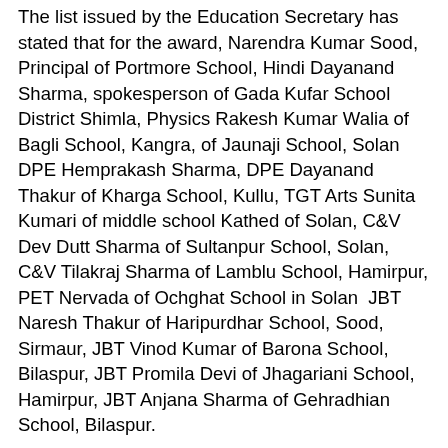The list issued by the Education Secretary has stated that for the award, Narendra Kumar Sood, Principal of Portmore School, Hindi Dayanand Sharma, spokesperson of Gada Kufar School District Shimla, Physics Rakesh Kumar Walia of Bagli School, Kangra, of Jaunaji School, Solan  DPE Hemprakash Sharma, DPE Dayanand Thakur of Kharga School, Kullu, TGT Arts Sunita Kumari of middle school Kathed of Solan, C&V Dev Dutt Sharma of Sultanpur School, Solan, C&V Tilakraj Sharma of Lamblu School, Hamirpur, PET Nervada of Ochghat School in Solan  JBT Naresh Thakur of Haripurdhar School, Sood, Sirmaur, JBT Vinod Kumar of Barona School, Bilaspur, JBT Promila Devi of Jhagariani School, Hamirpur, JBT Anjana Sharma of Gehradhian School, Bilaspur.
The three teachers the government has chosen include Uttam Singh Thakur, the headmaster of Dharotdhar Bagsyad School in District Mandi, Dekit Dolkar, principal of Kaza School in Lahaul-Spiti and spokesperson Narendra Kapila from Dhudhan School in Solan.  Three teachers selected by the government are being given to increase the number of